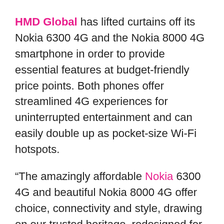HMD Global has lifted curtains off its Nokia 6300 4G and the Nokia 8000 4G smartphone in order to provide essential features at budget-friendly price points. Both phones offer streamlined 4G experiences for uninterrupted entertainment and can easily double up as pocket-size Wi-Fi hotspots.
“The amazingly affordable Nokia 6300 4G and beautiful Nokia 8000 4G offer choice, connectivity and style, drawing on our trusted heritage, redesigned for the modern day. Plus, both phones can easily double up as pocket-size Wi-Fi hotspots, giving you an extra layer of confidence that you will remain connected on your other devices as well,” said Juho Sarvikas, Chief Product Officer and Vice President of North America HMD Global.